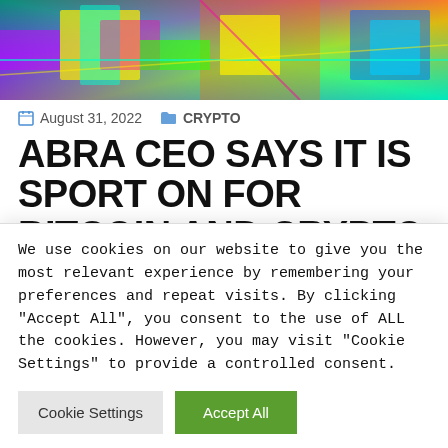[Figure (photo): Colorful abstract crypto-themed hero image with bright neon colors including yellow, green, blue, and purple digital art]
August 31, 2022   CRYPTO
ABRA CEO SAYS IT IS SPORT ON FOR BITCOIN AND CRYPTO AFTER FEDERAL RESERVE OFFERS SIGN FOR
We use cookies on our website to give you the most relevant experience by remembering your preferences and repeat visits. By clicking "Accept All", you consent to the use of ALL the cookies. However, you may visit "Cookie Settings" to provide a controlled consent.